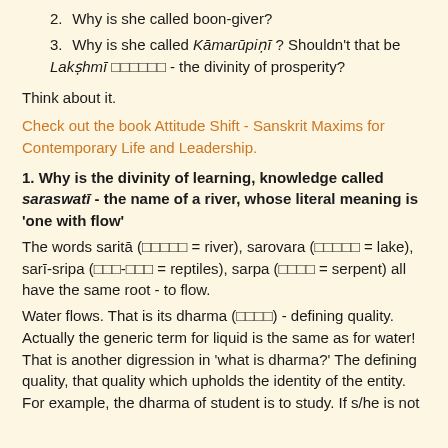2. Why is she called boon-giver?
3. Why is she called Kāmarūpiṇī ? Shouldn't that be Lakṣhmī 🔲🔲🔲🔲🔲🔲 - the divinity of prosperity?
Think about it.
Check out the book Attitude Shift - Sanskrit Maxims for Contemporary Life and Leadership.
1. Why is the divinity of learning, knowledge called saraswatī - the name of a river, whose literal meaning is 'one with flow'
The words saritā (🔲🔲🔲🔲🔲 = river), sarovara (🔲🔲🔲🔲🔲 = lake), sarī-sripa (🔲🔲🔲-🔲🔲🔲 = reptiles), sarpa (🔲🔲🔲🔲 = serpent) all have the same root - to flow.
Water flows. That is its dharma (🔲🔲🔲🔲) - defining quality. Actually the generic term for liquid is the same as for water! That is another digression in 'what is dharma?' The defining quality, that quality which upholds the identity of the entity. For example, the dharma of student is to study. If s/he is not studying...